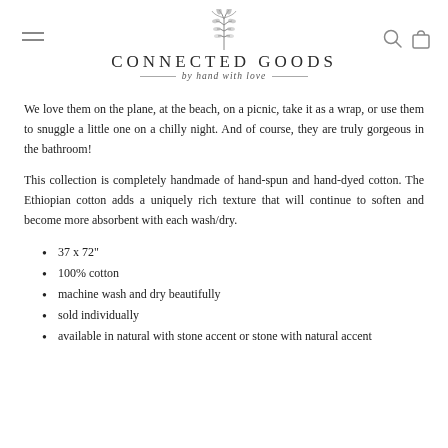CONNECTED GOODS by hand with love
We love them on the plane, at the beach, on a picnic, take it as a wrap, or use them to snuggle a little one on a chilly night. And of course, they are truly gorgeous in the bathroom!
This collection is completely handmade of hand-spun and hand-dyed cotton. The Ethiopian cotton adds a uniquely rich texture that will continue to soften and become more absorbent with each wash/dry.
37 x 72"
100% cotton
machine wash and dry beautifully
sold individually
available in natural with stone accent or stone with natural accent